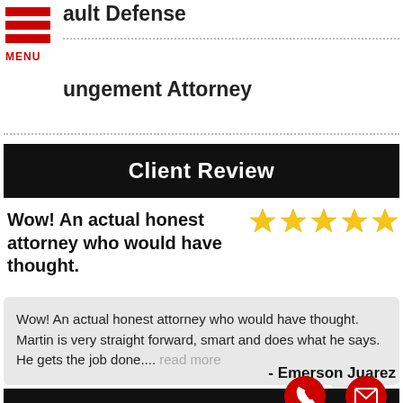ault Defense
ungement Attorney
Client Review
Wow! An actual honest attorney who would have thought.
[Figure (infographic): Five gold star rating icons]
Wow! An actual honest attorney who would have thought. Martin is very straight forward, smart and does what he says. He gets the job done.... read more
- Emerson Juarez